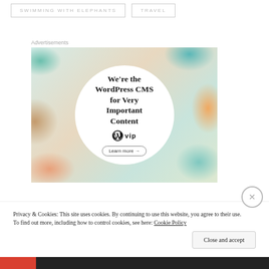SWIMMING WITH ELEPHANTS
TRAVEL
Advertisements
[Figure (illustration): WordPress VIP advertisement banner showing colorful brand logo cards arranged around a white circle. The circle contains bold text: 'We're the WordPress CMS for Very Important Content' with a WordPress VIP logo and a 'Learn more' button.]
Privacy & Cookies: This site uses cookies. By continuing to use this website, you agree to their use.
To find out more, including how to control cookies, see here: Cookie Policy
Close and accept